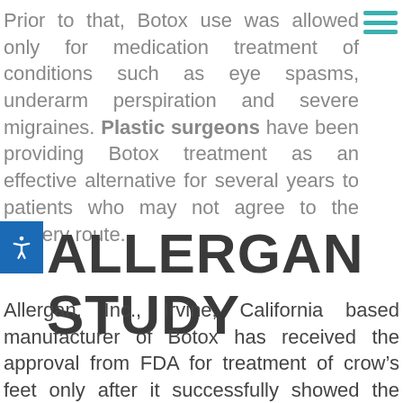Prior to that, Botox use was allowed only for medication treatment of conditions such as eye spasms, underarm perspiration and severe migraines. Plastic surgeons have been providing Botox treatment as an effective alternative for several years to patients who may not agree to the surgery route.
ALLERGAN STUDY
Allergan, Inc., Irvine, California based manufacturer of Botox has received the approval from FDA for treatment of crow’s feet only after it successfully showed the results of a study conducted to assess the impact of the treatment. The study included two groups of adult participants, out of which one group